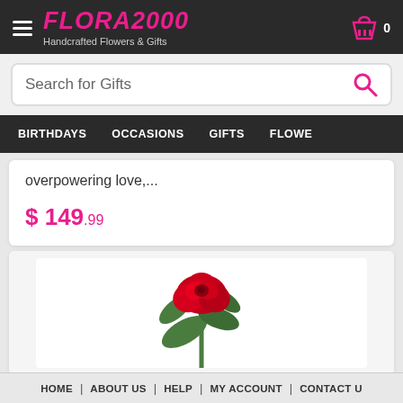FLORA2000 - Handcrafted Flowers & Gifts
Search for Gifts
BIRTHDAYS | OCCASIONS | GIFTS | FLOWE
overpowering love,...
$149.99
[Figure (photo): Red rose with green leaves on white background]
HOME | ABOUT US | HELP | MY ACCOUNT | CONTACT U